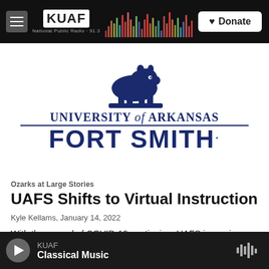KUAF National Public Radio | Donate
[Figure (logo): University of Arkansas Fort Smith logo with lion mascot and text UNIVERSITY of ARKANSAS FORT SMITH]
Ozarks at Large Stories
UAFS Shifts to Virtual Instruction
Kyle Kellams, January 14, 2022
With the spread of COVID-19 continuing, UAFS is moving to...
KUAF Classical Music